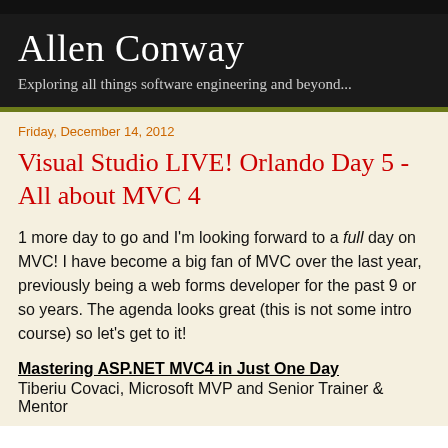Allen Conway
Exploring all things software engineering and beyond...
Friday, December 14, 2012
Visual Studio LIVE! Orlando Day 5 - All about MVC 4
1 more day to go and I'm looking forward to a full day on MVC! I have become a big fan of MVC over the last year, previously being a web forms developer for the past 9 or so years. The agenda looks great (this is not some intro course) so let's get to it!
Mastering ASP.NET MVC4 in Just One Day
Tiberiu Covaci, Microsoft MVP and Senior Trainer & Mentor